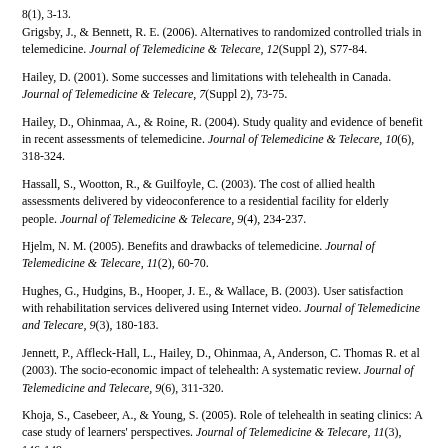8(1), 3-13.
Grigsby, J., & Bennett, R. E. (2006). Alternatives to randomized controlled trials in telemedicine. Journal of Telemedicine & Telecare, 12(Suppl 2), S77-84.
Hailey, D. (2001). Some successes and limitations with telehealth in Canada. Journal of Telemedicine & Telecare, 7(Suppl 2), 73-75.
Hailey, D., Ohinmaa, A., & Roine, R. (2004). Study quality and evidence of benefit in recent assessments of telemedicine. Journal of Telemedicine & Telecare, 10(6), 318-324.
Hassall, S., Wootton, R., & Guilfoyle, C. (2003). The cost of allied health assessments delivered by videoconference to a residential facility for elderly people. Journal of Telemedicine & Telecare, 9(4), 234-237.
Hjelm, N. M. (2005). Benefits and drawbacks of telemedicine. Journal of Telemedicine & Telecare, 11(2), 60-70.
Hughes, G., Hudgins, B., Hooper, J. E., & Wallace, B. (2003). User satisfaction with rehabilitation services delivered using Internet video. Journal of Telemedicine and Telecare, 9(3), 180-183.
Jennett, P., Affleck-Hall, L., Hailey, D., Ohinmaa, A, Anderson, C. Thomas R. et al (2003). The socio-economic impact of telehealth: A systematic review. Journal of Telemedicine and Telecare, 9(6), 311-320.
Khoja, S., Casebeer, A., & Young, S. (2005). Role of telehealth in seating clinics: A case study of learners' perspectives. Journal of Telemedicine & Telecare, 11(3), 146-149.
Lemaire, E. D., Boudrias, Y., & Greene, G. (2001). Low-bandwidth, internet-based videoconferencing for physical rehabilitation consultations. Journal of Telemedicine & Telecare, 7(2), 82-89.